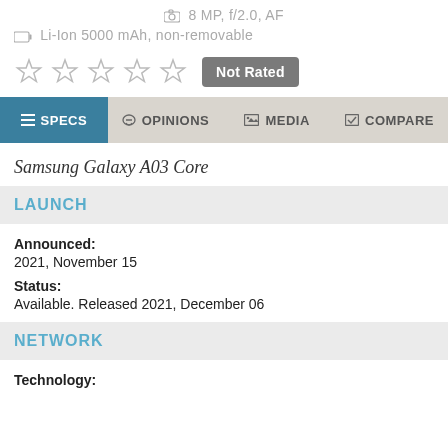8 MP, f/2.0, AF
Li-Ion 5000 mAh, non-removable
[Figure (other): Five empty star rating icons with a 'Not Rated' grey button]
SPECS | OPINIONS | MEDIA | COMPARE
Samsung Galaxy A03 Core
LAUNCH
Announced: 2021, November 15
Status: Available. Released 2021, December 06
NETWORK
Technology: